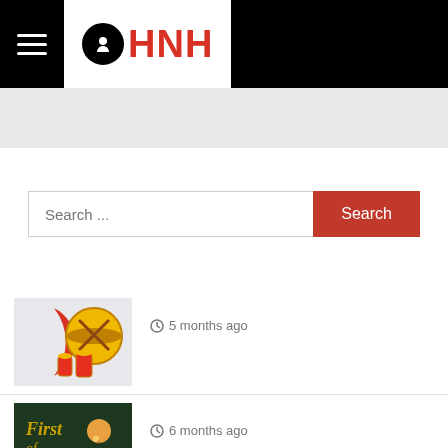HNH logo header with hamburger menu
[Figure (screenshot): Gray banner/advertisement area below header]
Search ...
Search
[Figure (photo): Ramadan themed image with crescent moon, drums and lanterns]
5 months ago
[Figure (photo): Album cover 'First of All' with artist posing]
6 months ago